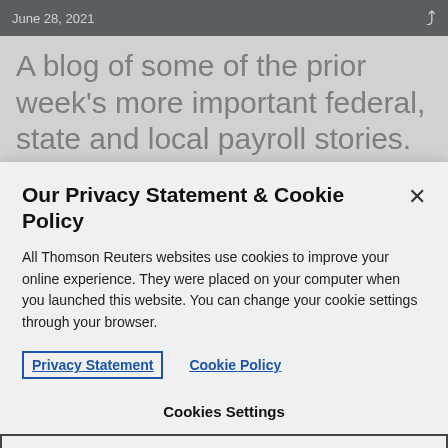June 28, 2021
A blog of some of the prior week’s more important federal, state and local payroll stories. This week’s focus is on the state
Our Privacy Statement & Cookie Policy
All Thomson Reuters websites use cookies to improve your online experience. They were placed on your computer when you launched this website. You can change your cookie settings through your browser.
Privacy Statement   Cookie Policy
Cookies Settings
Accept All Cookies